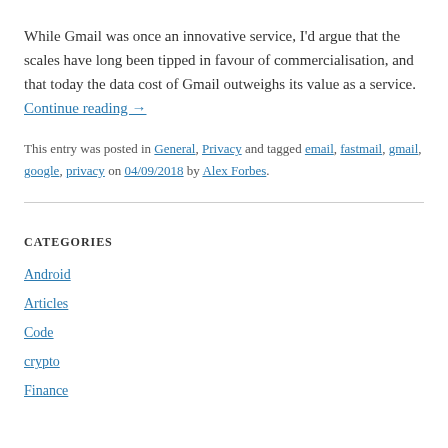While Gmail was once an innovative service, I'd argue that the scales have long been tipped in favour of commercialisation, and that today the data cost of Gmail outweighs its value as a service. Continue reading →
This entry was posted in General, Privacy and tagged email, fastmail, gmail, google, privacy on 04/09/2018 by Alex Forbes.
CATEGORIES
Android
Articles
Code
crypto
Finance